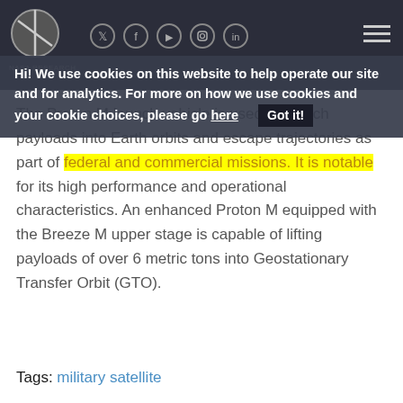[Figure (screenshot): Website navigation bar with logo, social media icons (Twitter, Facebook, YouTube, Instagram, LinkedIn), and hamburger menu on dark background]
Hi! We use cookies on this website to help operate our site and for analytics. For more on how we use cookies and your cookie choices, please go here
The Proton M launch vehicle is used to launch payloads into Earth orbits and escape trajectories as part of federal and commercial missions. It is notable for its high performance and operational characteristics. An enhanced Proton M equipped with the Breeze M upper stage is capable of lifting payloads of over 6 metric tons into Geostationary Transfer Orbit (GTO).
Tags: military satellite